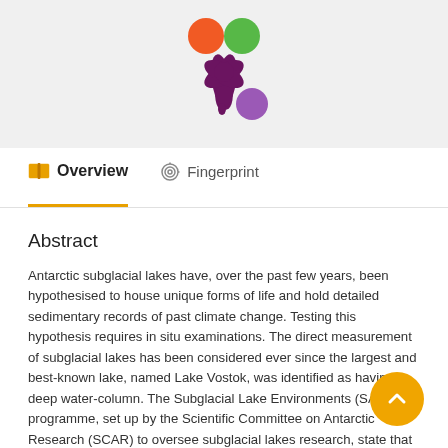[Figure (logo): Stylized logo with orange, green, and purple circles with a dark purple splash/burst shape, on a light gray background]
Overview   Fingerprint
Abstract
Antarctic subglacial lakes have, over the past few years, been hypothesised to house unique forms of life and hold detailed sedimentary records of past climate change. Testing this hypothesis requires in situ examinations. The direct measurement of subglacial lakes has been considered ever since the largest and best-known lake, named Lake Vostok, was identified as having a deep water-column. The Subglacial Lake Environments (SALE) programme, set up by the Scientific Committee on Antarctic Research (SCAR) to oversee subglacial lakes research, state that prior exploration of smaller lakes would